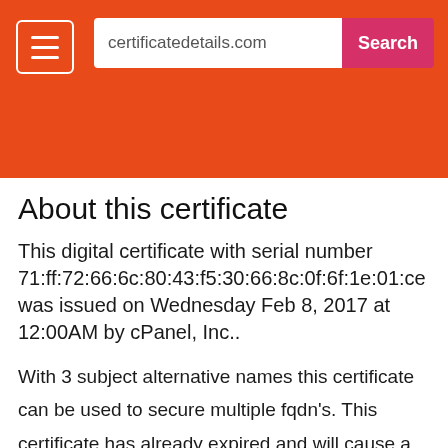[Figure (screenshot): Orange header bar with hamburger menu button on left, search bar showing 'certificatedetails.com' in center, and pink/red 'Search' button on right]
About this certificate
This digital certificate with serial number 71:ff:72:66:6c:80:43:f5:30:66:8c:0f:6f:1e:01:ce was issued on Wednesday Feb 8, 2017 at 12:00AM by cPanel, Inc..
With 3 subject alternative names this certificate can be used to secure multiple fqdn's. This certificate has already expired and will cause a warning or error message in the browser it's still listed on this site to allow you to look back